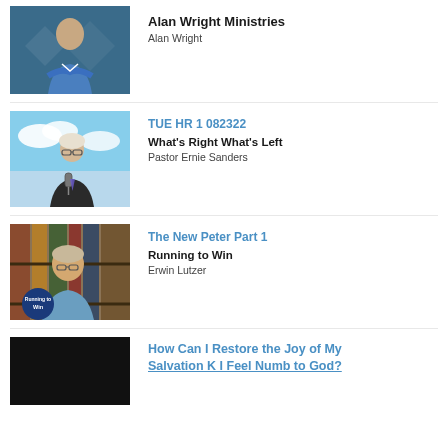Alan Wright Ministries
Alan Wright
TUE HR 1 082322
What's Right What's Left
Pastor Ernie Sanders
The New Peter Part 1
Running to Win
Erwin Lutzer
How Can I Restore the Joy of My Salvation K I Feel Numb to God?